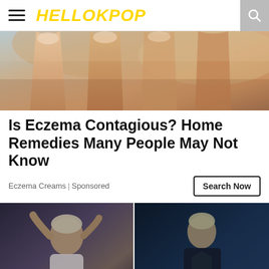HELLOKPOP
[Figure (photo): Close-up photo of fingers/hand skin]
Is Eczema Contagious? Home Remedies Many People May Not Know
Eczema Creams | Sponsored
[Figure (photo): Two side-by-side photos of a blonde K-pop artist in fashion outfits — left: white Dior top with black pants, right: dark denim jacket]